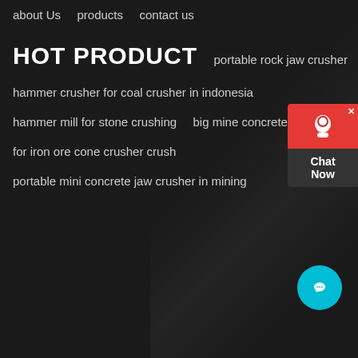about Us
products
contact us
HOT PRODUCT
portable rock jaw crusher
hammer crusher for coal crusher in indonesia
hammer mill for stone crushing
big mine concrete jaw crusher
for iron ore cone crusher crush
portable mini concrete jaw crusher in mining